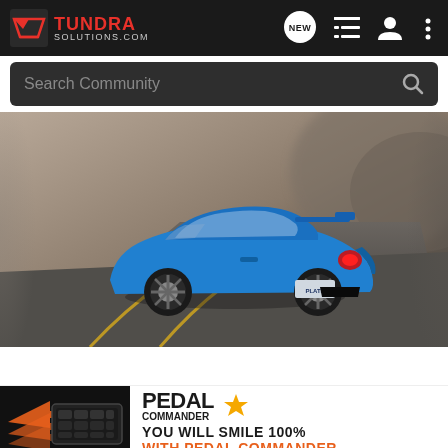[Figure (screenshot): TundraSolutions.com website header with logo, navigation icons (NEW chat bubble, list, user, more), search bar showing 'Search Community', a blue Toyota sports car driving on a winding road, and a Pedal Commander advertisement banner at the bottom reading 'YOU WILL SMILE 100% WITH PEDAL COMMANDER']
TUNDRA SOLUTIONS.COM
Search Community
YOU WILL SMILE 100% WITH PEDAL COMMANDER